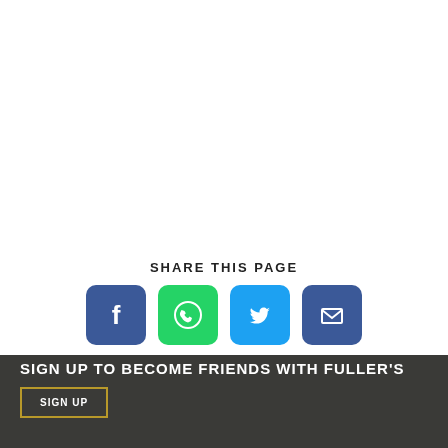SHARE THIS PAGE
[Figure (infographic): Four social sharing icon buttons: Facebook (blue rounded square with F logo), WhatsApp (green rounded square with phone/speech bubble logo), Twitter (light blue rounded square with bird logo), Email (dark blue rounded square with envelope logo)]
SIGN UP TO BECOME FRIENDS WITH FULLER'S
SIGN UP